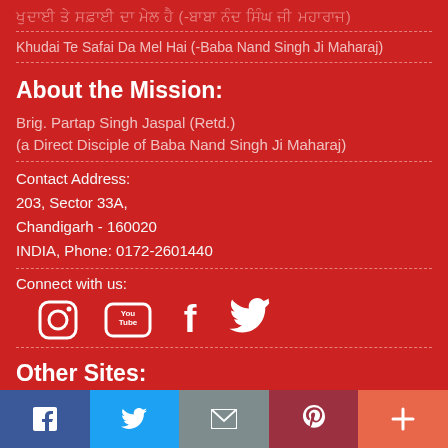ਖੁਦਾਈ ਤੇ ਸਫ਼ਾਈ ਦਾ ਮੇਲ ਹੈ (-ਬਾਬਾ ਨੰਦ ਸਿੰਘ ਜੀ ਮਹਾਰਾਜ)
Khudai Te Safai Da Mel Hai (-Baba Nand Singh Ji Maharaj)
About the Mission:
Brig. Partap Singh Jaspal (Retd.)
(a Direct Disciple of Baba Nand Singh Ji Maharaj)
Contact Address:
203, Sector 33A,
Chandigarh - 160020
INDIA, Phone: 0172-2601440
Connect with us:
[Figure (infographic): Social media icons: Instagram, YouTube, Facebook, Twitter]
Other Sites:
[Figure (infographic): Share bar with Facebook, Twitter, Email, Pinterest, and More buttons]